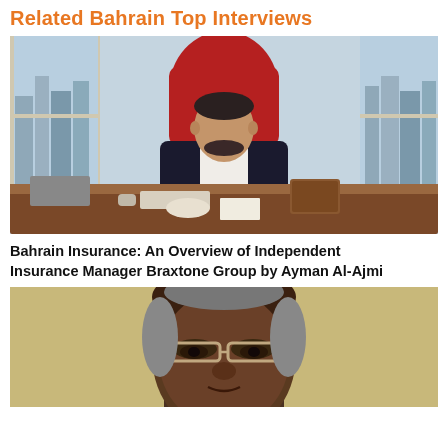Related Bahrain Top Interviews
[Figure (photo): Man in dark suit sitting at a large wooden desk in a modern office with city view through windows, red executive chair behind him.]
Bahrain Insurance: An Overview of Independent Insurance Manager Braxtone Group by Ayman Al-Ajmi
[Figure (photo): Close-up portrait of an older man wearing glasses, in front of a beige/yellow background.]